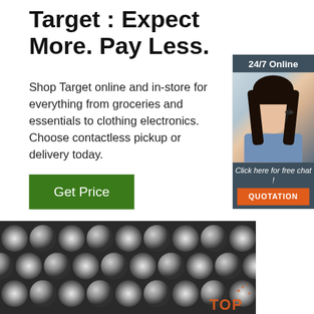Target : Expect More. Pay Less.
Shop Target online and in-store for everything from groceries and essentials to clothing electronics. Choose contactless pickup or delivery today.
[Figure (other): Green 'Get Price' button]
[Figure (photo): 24/7 Online chat widget with a smiling female customer service representative wearing a headset, a dark blue-gray background with '24/7 Online' text at top, 'Click here for free chat!' text and an orange QUOTATION button at the bottom.]
[Figure (photo): Close-up photo of many shiny metallic steel rods arranged in a bundle, viewed from the end showing circular cross-sections with a dark background. An orange 'TOP' watermark appears in the lower right.]